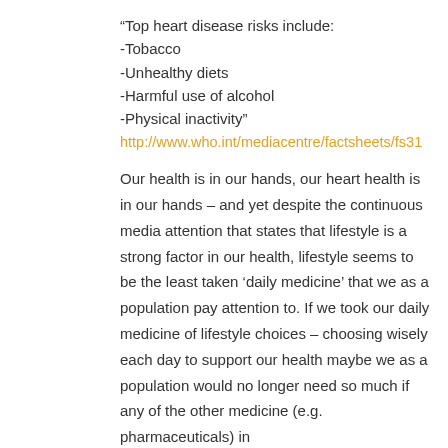“Top heart disease risks include:
-Tobacco
-Unhealthy diets
-Harmful use of alcohol
-Physical inactivity”
http://www.who.int/mediacentre/factsheets/fs31
Our health is in our hands, our heart health is in our hands – and yet despite the continuous media attention that states that lifestyle is a strong factor in our health, lifestyle seems to be the least taken ‘daily medicine’ that we as a population pay attention to. If we took our daily medicine of lifestyle choices – choosing wisely each day to support our health maybe we as a population would no longer need so much if any of the other medicine (e.g. pharmaceuticals) in